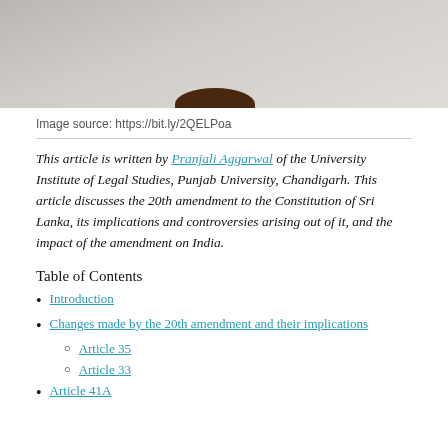[Figure (photo): Photograph of a judge's gavel resting on a surface, partially cropped at top]
Image source: https://bit.ly/2QELPoa
This article is written by Pranjali Aggarwal of the University Institute of Legal Studies, Punjab University, Chandigarh. This article discusses the 20th amendment to the Constitution of Sri Lanka, its implications and controversies arising out of it, and the impact of the amendment on India.
Table of Contents
Introduction
Changes made by the 20th amendment and their implications
Article 35
Article 33
Article 41A